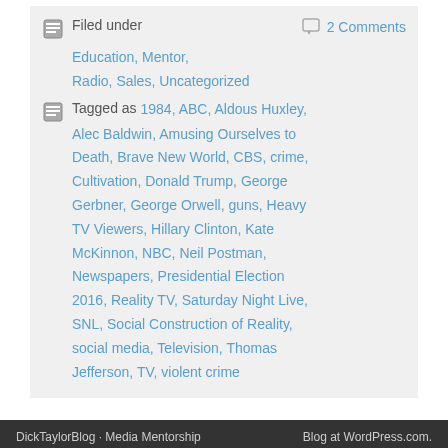Filed under  2 Comments
Education, Mentor, Radio, Sales, Uncategorized
Tagged as 1984, ABC, Aldous Huxley, Alec Baldwin, Amusing Ourselves to Death, Brave New World, CBS, crime, Cultivation, Donald Trump, George Gerbner, George Orwell, guns, Heavy TV Viewers, Hillary Clinton, Kate McKinnon, NBC, Neil Postman, Newspapers, Presidential Election 2016, Reality TV, Saturday Night Live, SNL, Social Construction of Reality, social media, Television, Thomas Jefferson, TV, violent crime
DickTaylorBlog · Media Mentorship   Blog at WordPress.com.